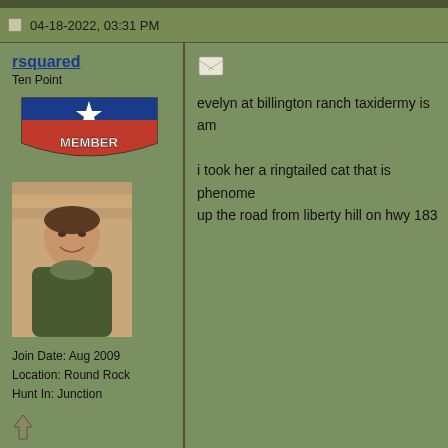04-18-2022, 03:31 PM
rsquared
Ten Point
Join Date: Aug 2009
Location: Round Rock
Hunt In: Junction
[Figure (logo): Supporting Member badge with Texas flag star]
[Figure (photo): Avatar photo of a man smiling, wearing camo, indoors]
evelyn at billington ranch taxidermy is am

i took her a ringtailed cat that is phenome up the road from liberty hill on hwy 183
04-18-2022, 05:00 PM